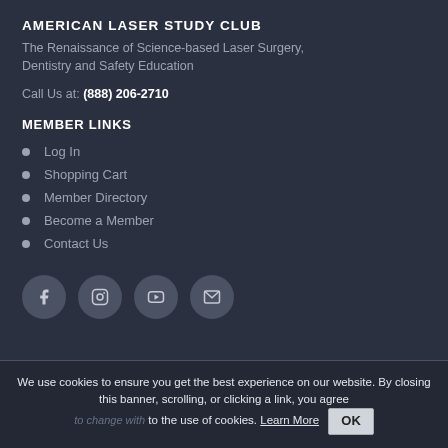AMERICAN LASER STUDY CLUB
The Renaissance of Science-based Laser Surgery, Dentistry and Safety Education
Call Us at: (888) 206-2710
MEMBER LINKS
Log In
Shopping Cart
Member Directory
Become a Member
Contact Us
[Figure (illustration): Four circular social media icon buttons: Facebook (f), Instagram (camera), YouTube (play), Email (envelope)]
We use cookies to ensure you get the best experience on our website. By closing this banner, scrolling, or clicking a link, you agree to the use of cookies. Learn More OK